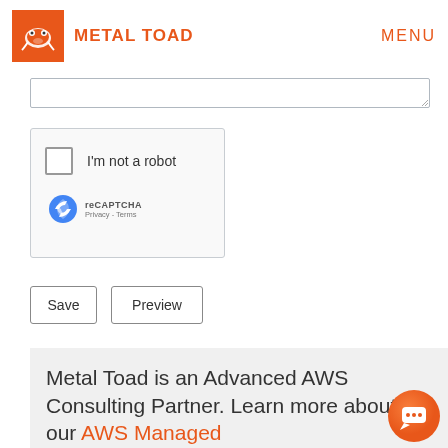METAL TOAD | MENU
[Figure (screenshot): Textarea input field stub with resize handle at bottom-right]
[Figure (screenshot): reCAPTCHA widget with checkbox labeled I'm not a robot, reCAPTCHA logo, Privacy - Terms links]
Save | Preview
Metal Toad is an Advanced AWS Consulting Partner. Learn more about our AWS Managed